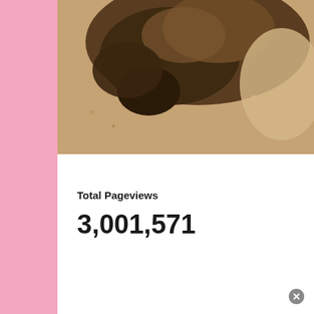[Figure (photo): Close-up photo of an animal (appears to be a meerkat or similar small mammal) partially buried in sand, showing fur texture and nose detail]
Total Pageviews
3,001,571